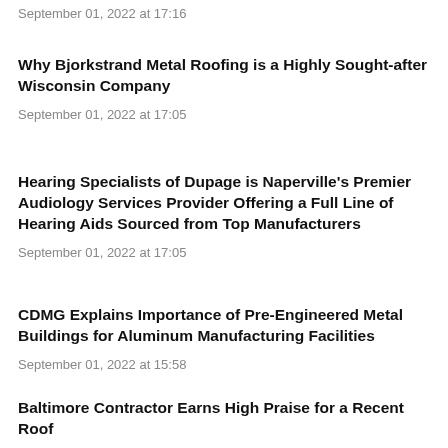September 01, 2022 at 17:16
Why Bjorkstrand Metal Roofing is a Highly Sought-after Wisconsin Company
September 01, 2022 at 17:05
Hearing Specialists of Dupage is Naperville's Premier Audiology Services Provider Offering a Full Line of Hearing Aids Sourced from Top Manufacturers
September 01, 2022 at 17:05
CDMG Explains Importance of Pre-Engineered Metal Buildings for Aluminum Manufacturing Facilities
September 01, 2022 at 15:58
Baltimore Contractor Earns High Praise for a Recent Roof